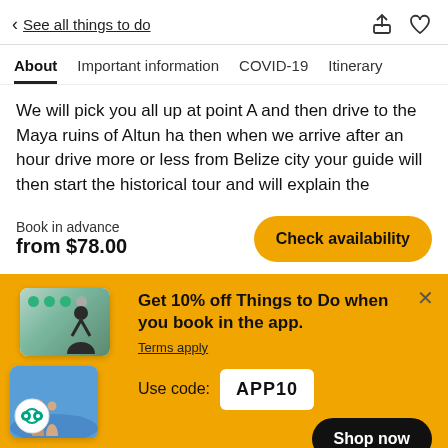< See all things to do
About  Important information  COVID-19  Itinerary
We will pick you all up at point A and then drive to the Maya ruins of Altun ha then when we arrive after an hour drive more or less from Belize city your guide will then start the historical tour and will explain the
Book in advance
from $78.00
[Figure (screenshot): Yellow promotional banner with app booking offer: 'Get 10% off Things to Do when you book in the app. Terms apply. Use code: APP10' with Shop now button and TripAdvisor imagery]
Get 10% off Things to Do when you book in the app.
Terms apply
Use code: APP10
Shop now